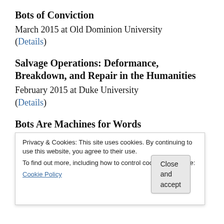Bots of Conviction
March 2015 at Old Dominion University
(Details)
Salvage Operations: Deformance, Breakdown, and Repair in the Humanities
February 2015 at Duke University
(Details)
Bots Are Machines for Words
January 2015 at Modern Language Convention
(Details)
Twitterbot Workshop
October 2014 at Swarthmore College
(Details)
Privacy & Cookies: This site uses cookies. By continuing to use this website, you agree to their use. To find out more, including how to control cookies, see here: Cookie Policy